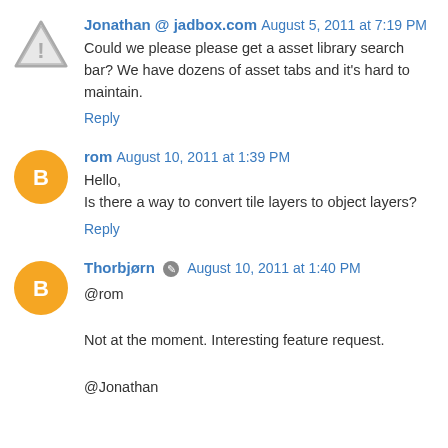Jonathan @ jadbox.com  August 5, 2011 at 7:19 PM
Could we please please get a asset library search bar? We have dozens of asset tabs and it's hard to maintain.
Reply
rom  August 10, 2011 at 1:39 PM
Hello,
Is there a way to convert tile layers to object layers?
Reply
Thorbjørn  August 10, 2011 at 1:40 PM
@rom

Not at the moment. Interesting feature request.

@Jonathan